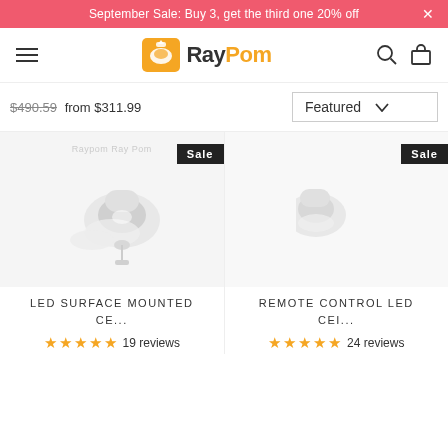September Sale: Buy 3, get the third one 20% off
[Figure (logo): RayPom logo with orange lamp icon and bold text 'RayPom']
$490.59 from $311.99
Featured
[Figure (photo): LED Surface Mounted ceiling light product image, white fixture on light background, Sale badge]
LED SURFACE MOUNTED CE...
19 reviews
[Figure (photo): Remote Control LED ceiling light product image (partially visible on right), Sale badge]
REMOTE CONTROL LED CEI...
24 reviews